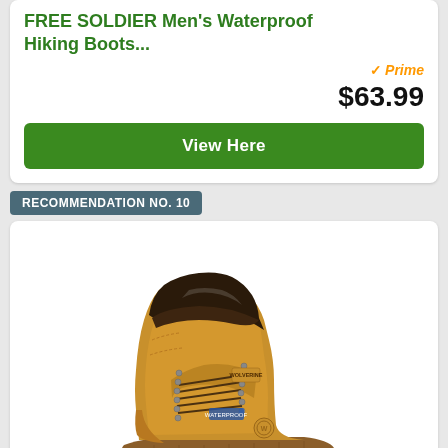FREE SOLDIER Men's Waterproof Hiking Boots...
$63.99
View Here
RECOMMENDATION NO. 10
[Figure (photo): Tan/wheat colored Wolverine brand lace-up waterproof hiking boot shown at an angle on white background]